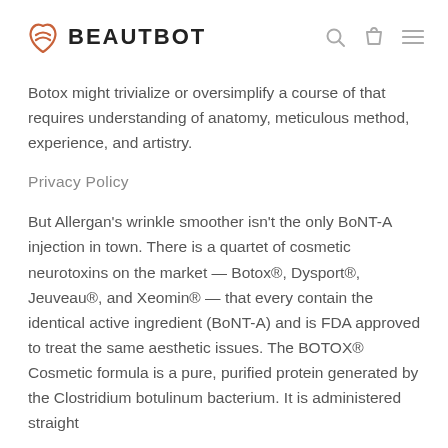BEAUTBOT
Botox might trivialize or oversimplify a course of that requires understanding of anatomy, meticulous method, experience, and artistry.
Privacy Policy
But Allergan's wrinkle smoother isn't the only BoNT-A injection in town. There is a quartet of cosmetic neurotoxins on the market — Botox®, Dysport®, Jeuveau®, and Xeomin® — that every contain the identical active ingredient (BoNT-A) and is FDA approved to treat the same aesthetic issues. The BOTOX® Cosmetic formula is a pure, purified protein generated by the Clostridium botulinum bacterium. It is administered straight